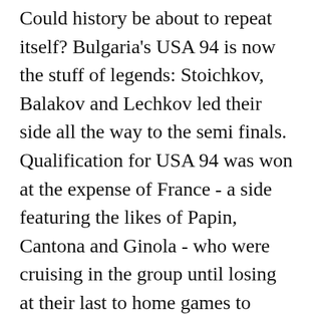Could history be about to repeat itself? Bulgaria's USA 94 is now the stuff of legends: Stoichkov, Balakov and Lechkov led their side all the way to the semi finals. Qualification for USA 94 was won at the expense of France - a side featuring the likes of Papin, Cantona and Ginola - who were cruising in the group until losing at their last to home games to Israel and Bulgaria. After the match in 1993, Stoichkov said the French lost because they played with "their buttocks clenched" - an apt description of the way the French played against Luxembourg in September, where, despite having an embarrassment of riches